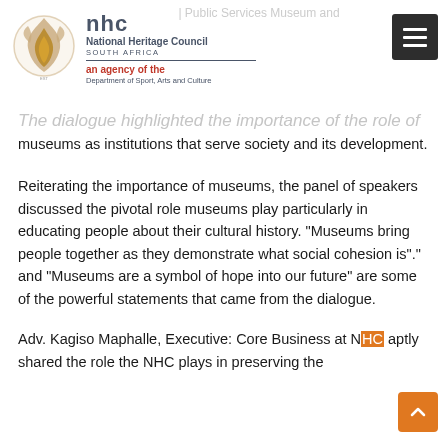NHC - National Heritage Council South Africa, an agency of the Department of Sport, Arts and Culture
| Public Services Museum and
The dialogue highlighted the importance of the role of museums as institutions that serve society and its development.
Reiterating the importance of museums, the panel of speakers discussed the pivotal role museums play particularly in educating people about their cultural history. “Museums bring people together as they demonstrate what social cohesion is”.” and “Museums are a symbol of hope into our future” are some of the powerful statements that came from the dialogue.
Adv. Kagiso Maphalle, Executive: Core Business at NHC aptly shared the role the NHC plays in preserving the